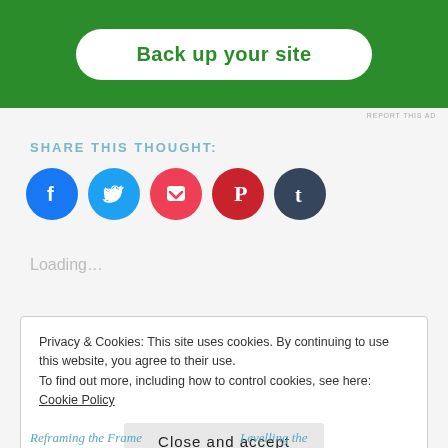[Figure (other): Green advertisement banner with white rounded button labeled 'Back up your site']
REPORT THIS AD
SHARE THIS THOUGHT:
[Figure (other): Row of five social media icon circles: Facebook (blue), Twitter (light blue), Pocket (red-pink), Pinterest (dark red), Tumblr (dark navy)]
Loading...
Privacy & Cookies: This site uses cookies. By continuing to use this website, you agree to their use.
To find out more, including how to control cookies, see here: Cookie Policy
Close and accept
Reframing the Frame
Levelling the